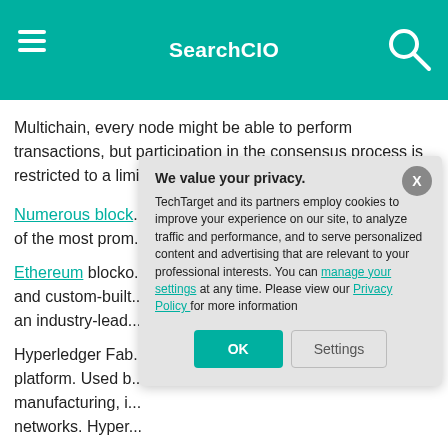SearchCIO
Multichain, every node might be able to perform transactions, but participation in the consensus process is restricted to a limited number of approved nodes.
Numerous block... of the most prom... Hyperledger Fab...
Ethereum blocko... and custom-built... an industry-lead...
Hyperledger Fab... platform. Used b... manufacturing, i... networks. Hyper...
We value your privacy.
TechTarget and its partners employ cookies to improve your experience on our site, to analyze traffic and performance, and to serve personalized content and advertising that are relevant to your professional interests. You can manage your settings at any time. Please view our Privacy Policy for more information